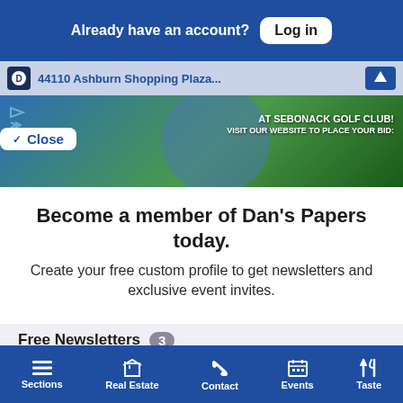Already have an account? Log in
44110 Ashburn Shopping Plaza...
[Figure (screenshot): Banner image showing golf club promotional content with text 'AT SEBONACK GOLF CLUB! VISIT OUR WEBSITE TO PLACE YOUR BID:']
Close
Become a member of Dan's Papers today.
Create your free custom profile to get newsletters and exclusive event invites.
Free Newsletters 3
Dan's Daily
Dan's Hamptons Insider
Sections  Real Estate  Contact  Events  Taste